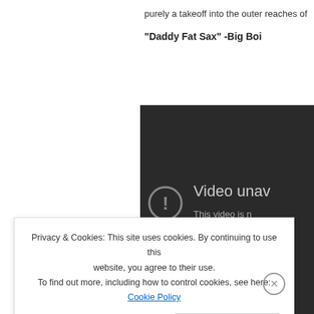purely a takeoff into the outer reaches of
“Daddy Fat Sax” -Big Boi
[Figure (screenshot): YouTube video unavailable error screen on dark background. Shows an exclamation mark in a circle and text: 'Video unavailable. This video is no longer available because the YouTube account associated with this video has been terminated.']
Privacy & Cookies: This site uses cookies. By continuing to use this website, you agree to their use.
To find out more, including how to control cookies, see here: Cookie Policy
Close and accept